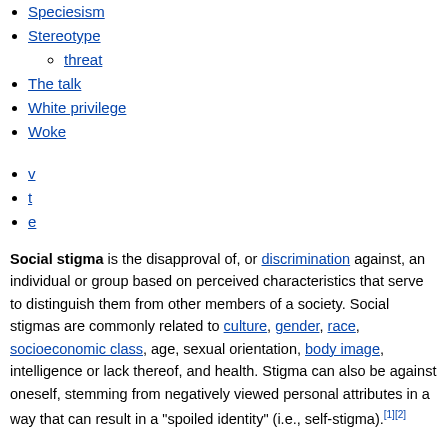Speciesism
Stereotype
threat
The talk
White privilege
Woke
v
t
e
Social stigma is the disapproval of, or discrimination against, an individual or group based on perceived characteristics that serve to distinguish them from other members of a society. Social stigmas are commonly related to culture, gender, race, socioeconomic class, age, sexual orientation, body image, intelligence or lack thereof, and health. Stigma can also be against oneself, stemming from negatively viewed personal attributes in a way that can result in a "spoiled identity" (i.e., self-stigma).[1][2]
Description
Stigma (plural stigmas or stigmata) is a Greek word that in its origins referred to a type of marking on the tattoo that was cut or